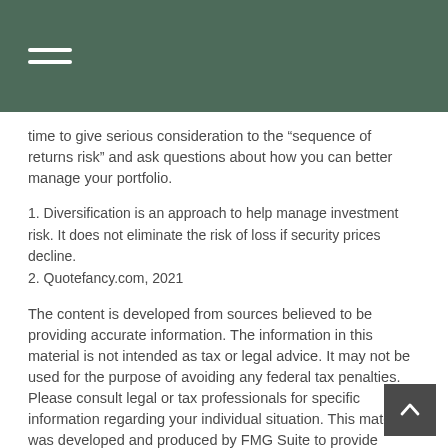time to give serious consideration to the “sequence of returns risk” and ask questions about how you can better manage your portfolio.
1. Diversification is an approach to help manage investment risk. It does not eliminate the risk of loss if security prices decline.
2. Quotefancy.com, 2021
The content is developed from sources believed to be providing accurate information. The information in this material is not intended as tax or legal advice. It may not be used for the purpose of avoiding any federal tax penalties. Please consult legal or tax professionals for specific information regarding your individual situation. This material was developed and produced by FMG Suite to provide information on a topic that may be of interest. FMG Suite is not affiliated with the named broker-dealer, state- or SEC-registered investment advisory firm. The opinions expressed material provided are for general information, and should not be considered a solicitation for the purchase or sale of any security.